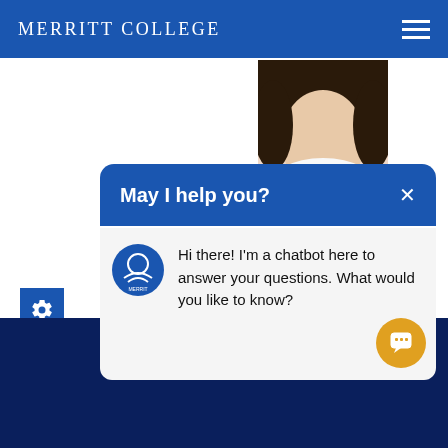MERRITT COLLEGE
[Figure (photo): Partial photo of a woman with dark hair, cropped at the top]
Financial Aid Specialist
Stephanie Le
sle@peralta.edu
(510) 436-
[Figure (screenshot): Chatbot popup with header 'May I help you?' and message: 'Hi there! I'm a chatbot here to answer your questions. What would you like to know?']